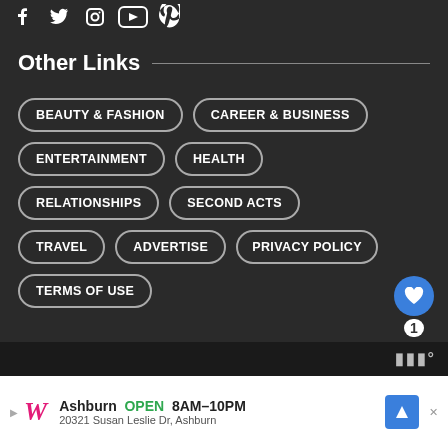[Figure (other): Social media icons row: Facebook, Twitter, Instagram, YouTube, Pinterest]
Other Links
BEAUTY & FASHION
CAREER & BUSINESS
ENTERTAINMENT
HEALTH
RELATIONSHIPS
SECOND ACTS
TRAVEL
ADVERTISE
PRIVACY POLICY
TERMS OF USE
Trending Slider
WHAT'S NEXT → Here's How You Can 60...
Ashburn  OPEN  8AM–10PM  20321 Susan Leslie Dr, Ashburn